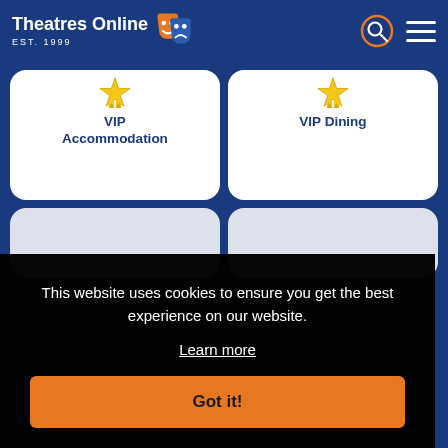Theatres Online EST. 1999
[Figure (illustration): VIP Accommodation card with gold star/ribbon icon]
VIP Accommodation
[Figure (illustration): VIP Dining card with gold star/ribbon icon]
VIP Dining
This website uses cookies to ensure you get the best experience on our website.
Learn more
Got it!